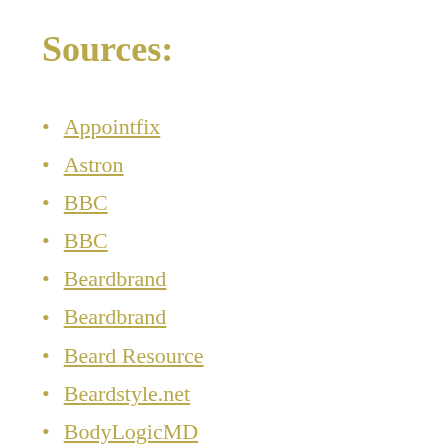Sources:
Appointfix
Astron
BBC
BBC
Beardbrand
Beardbrand
Beard Resource
Beardstyle.net
BodyLogicMD
BodyLogicMD
Daily Mail
Fox News
Global News